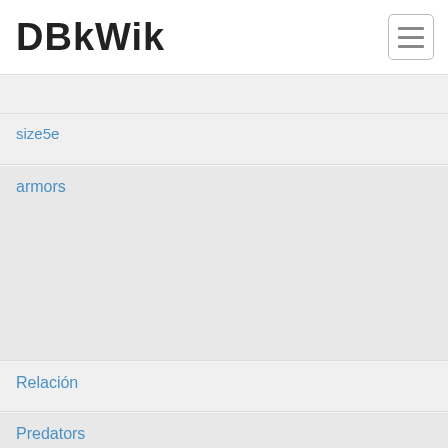DBkWik
size5e
armors
Relación
Predators